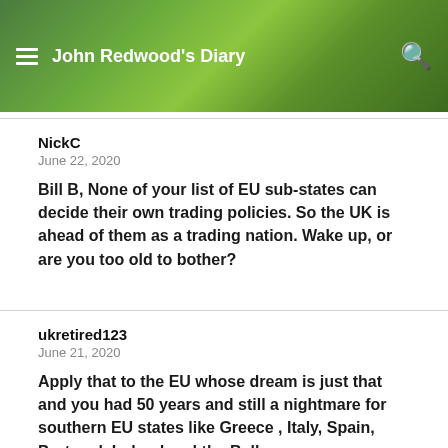John Redwood's Diary
NickC
June 22, 2020
Bill B, None of your list of EU sub-states can decide their own trading policies. So the UK is ahead of them as a trading nation. Wake up, or are you too old to bother?
ukretired123
June 21, 2020
Apply that to the EU whose dream is just that and you had 50 years and still a nightmare for southern EU states like Greece , Italy, Spain, Portugal, Ireland and the Balkans.